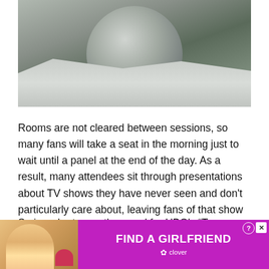[Figure (photo): Partial photo showing a person in a seat, with a dark circular shape (possibly a hat or head) and gray/white fabric visible, taken at a convention hall.]
Rooms are not cleared between sessions, so many fans will take a seat in the morning just to wait until a panel at the end of the day. As a result, many attendees sit through presentations about TV shows they have never seen and don't particularly care about, leaving fans of that show sitting outside the hall wishing they could get in. It can be frustrating for both parties, but clearing the hall between each presentation would be worse.
So in order to see the panel for HBO's “True Blood,” I first sat through one featuring the stars of SyFy's “War…
[Figure (advertisement): Advertisement banner for Clover app reading FIND A GIRLFRIEND in white text on purple/magenta background, with a photo of a young woman and heart balloon on the left side. Has help and close buttons in top right.]